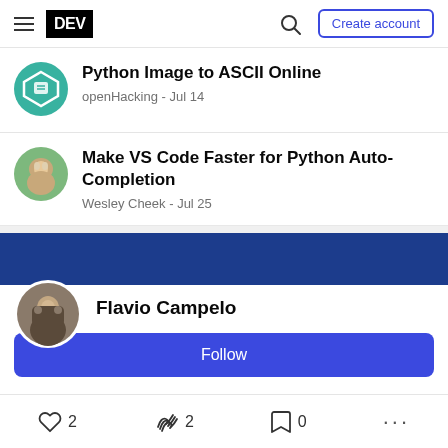DEV — Create account
Python Image to ASCII Online
openHacking - Jul 14
Make VS Code Faster for Python Auto-Completion
Wesley Cheek - Jul 25
Flavio Campelo
Follow
2  2  0  ...